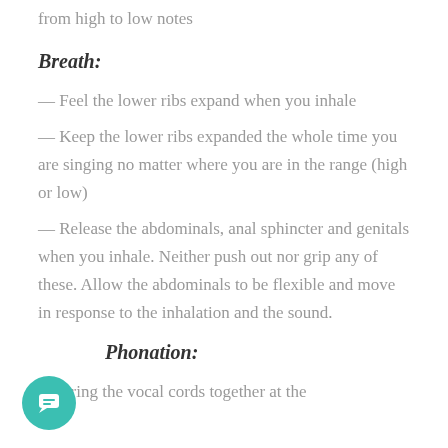from high to low notes
Breath:
— Feel the lower ribs expand when you inhale
— Keep the lower ribs expanded the whole time you are singing no matter where you are in the range (high or low)
— Release the abdominals, anal sphincter and genitals when you inhale. Neither push out nor grip any of these. Allow the abdominals to be flexible and move in response to the inhalation and the sound.
Phonation:
— Bring the vocal cords together at the